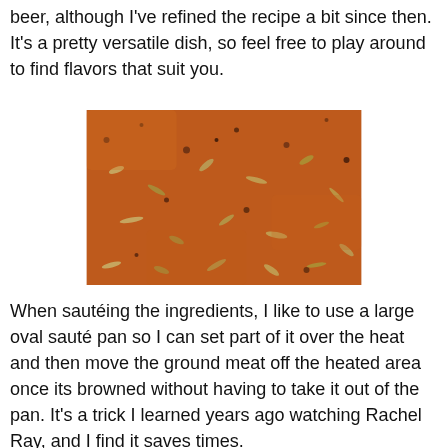beer, although I've refined the recipe a bit since then. It's a pretty versatile dish, so feel free to play around to find flavors that suit you.
[Figure (photo): Close-up photo of a spice blend or dry rub mixture showing reddish-brown ground spices mixed with dried herb flakes and seeds.]
When sautéing the ingredients, I like to use a large oval sauté pan so I can set part of it over the heat and then move the ground meat off the heated area once its browned without having to take it out of the pan. It's a trick I learned years ago watching Rachel Ray, and I find it saves times.